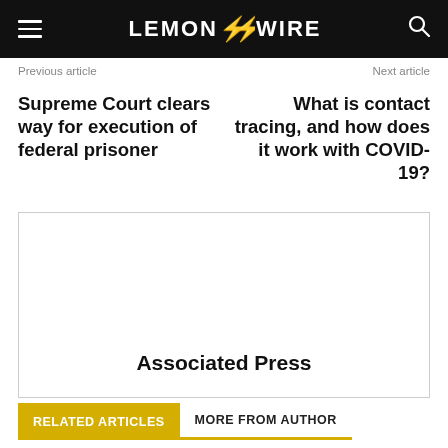LEMON WIRE
Previous article
Next article
Supreme Court clears way for execution of federal prisoner
What is contact tracing, and how does it work with COVID-19?
[Figure (other): Author card box with name Associated Press]
RELATED ARTICLES   MORE FROM AUTHOR